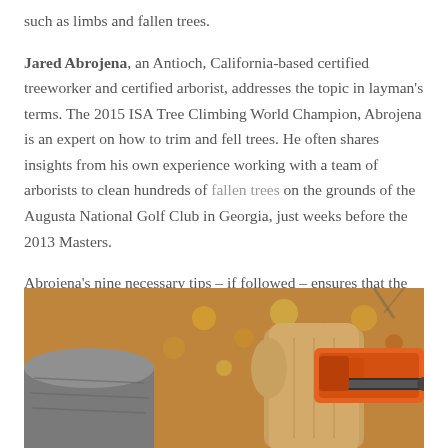such as limbs and fallen trees.
Jared Abrojena, an Antioch, California-based certified treeworker and certified arborist, addresses the topic in layman's terms. The 2015 ISA Tree Climbing World Champion, Abrojena is an expert on how to trim and fell trees. He often shares insights from his own experience working with a team of arborists to clean hundreds of fallen trees on the grounds of the Augusta National Golf Club in Georgia, just weeks before the 2013 Masters.
Abrojena's nine necessary tips – if followed – ensures that the work of brave storm clean-up volunteers is safe and effective. They are:
[Figure (photo): Close-up photo of a person wearing tan/beige work gloves holding a chainsaw, with a log and autumn leaves visible in the background. The image shows a storm clean-up or tree-cutting scene.]